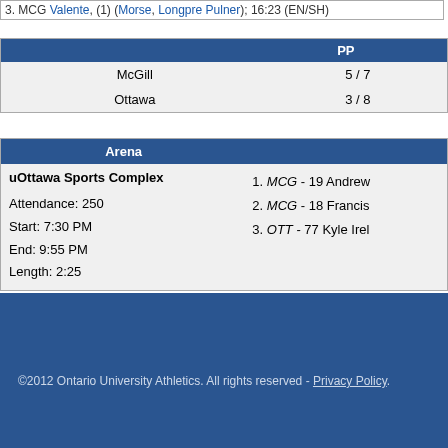3. MCG Valente, (1) (Morse, Longpre Pulner); 16:23 (EN/SH)
|  | PP |
| --- | --- |
| McGill | 5 / 7 |
| Ottawa | 3 / 8 |
| Arena |  |
| --- | --- |
| uOttawa Sports Complex
Attendance: 250
Start: 7:30 PM
End: 9:55 PM
Length: 2:25 | 1. MCG - 19 Andrew...
2. MCG - 18 Francis...
3. OTT - 77 Kyle Irel... |
©2012 Ontario University Athletics. All rights reserved - Privacy Policy.